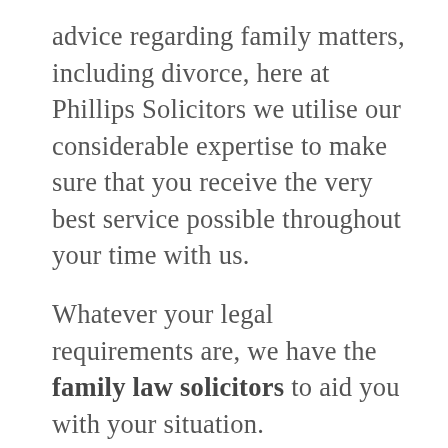advice regarding family matters, including divorce, here at Phillips Solicitors we utilise our considerable expertise to make sure that you receive the very best service possible throughout your time with us.
Whatever your legal requirements are, we have the family law solicitors to aid you with your situation.
Our family law solicitors belong to our